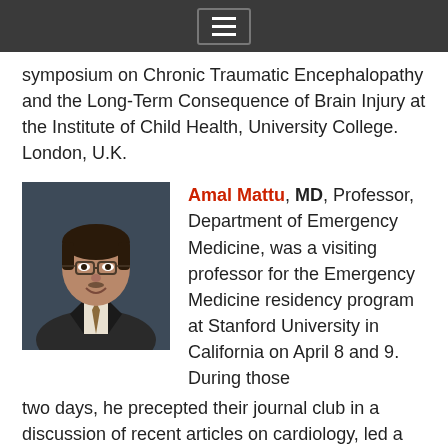[hamburger menu icon]
symposium on Chronic Traumatic Encephalopathy and the Long-Term Consequence of Brain Injury at the Institute of Child Health, University College. London, U.K.
[Figure (photo): Headshot photo of Amal Mattu, a middle-aged man in a suit and tie]
Amal Mattu, MD, Professor, Department of Emergency Medicine, was a visiting professor for the Emergency Medicine residency program at Stanford University in California on April 8 and 9. During those two days, he precepted their journal club in a discussion of recent articles on cardiology, led a legal case discussion, presented a Grand Rounds lecture on "Everyday Leadership," and served as a judge for the program's Research Forum. Dr. Mattu also presented three lectures at meetings in Las Vegas in April: "Wide Complex Tachycardias: Myths and Pitfalls" and "Acute MI: A Big Piece of Medico-Legal Pie" at the 25th Annual High Risk Emergency Medicine Conference,